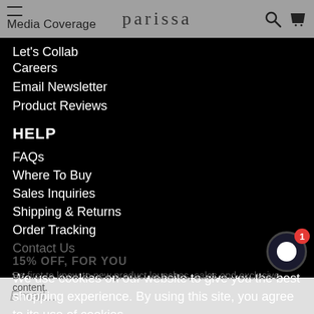Let's Collab | Media Coverage | parissa
Let's Collab
Media Coverage
Careers
Email Newsletter
Product Reviews
HELP
FAQs
Where To Buy
Sales Inquiries
Shipping & Returns
Order Tracking
Contact Us
We use cookies on our website to give you the best shopping experience. By using this site, you agree to its use of cookies.
15% OFF, FOR YOU
Be first to know to new product launches, sales and exclusive content.
I AGREE